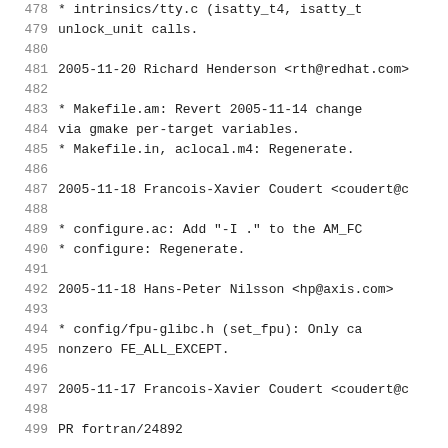478     * intrinsics/tty.c (isatty_t4, isatty_t
479         unlock_unit calls.
480
481  2005-11-20  Richard Henderson  <rth@redhat.com>
482
483         * Makefile.am: Revert 2005-11-14 change
484         via gmake per-target variables.
485         * Makefile.in, aclocal.m4: Regenerate.
486
487  2005-11-18  Francois-Xavier Coudert  <coudert@c
488
489         * configure.ac: Add "-I ." to the AM_FC
490         * configure: Regenerate.
491
492  2005-11-18  Hans-Peter Nilsson  <hp@axis.com>
493
494         * config/fpu-glibc.h (set_fpu): Only ca
495         nonzero FE_ALL_EXCEPT.
496
497  2005-11-17  Francois-Xavier Coudert  <coudert@c
498
499         PR fortran/24892